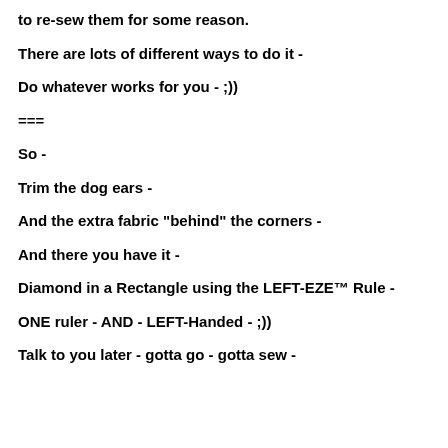to re-sew them for some reason.
There are lots of different ways to do it -
Do whatever works for you - ;))
===
So -
Trim the dog ears -
And the extra fabric "behind" the corners -
And there you have it -
Diamond in a Rectangle using the LEFT-EZE™ Rule -
ONE ruler - AND - LEFT-Handed - ;))
Talk to you later - gotta go - gotta sew -